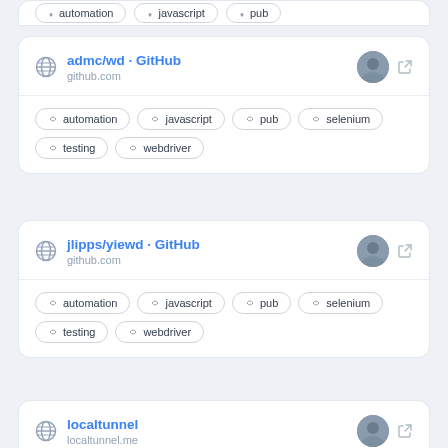[Figure (screenshot): Partial card at top of page showing cut-off tag buttons]
admc/wd · GitHub
github.com
automation
javascript
pub
selenium
testing
webdriver
jlipps/yiewd · GitHub
github.com
automation
javascript
pub
selenium
testing
webdriver
localtunnel
localtunnel.me